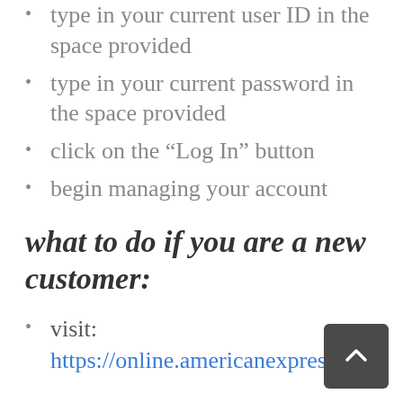type in your current user ID in the space provided
type in your current password in the space provided
click on the “Log In” button
begin managing your account
what to do if you are a new customer:
visit: https://online.americanexpress.com